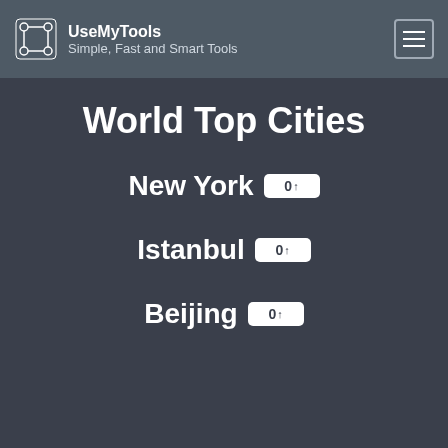UseMyTools — Simple, Fast and Smart Tools
World Top Cities
New York 0↑
Istanbul 0↑
Beijing 0↑